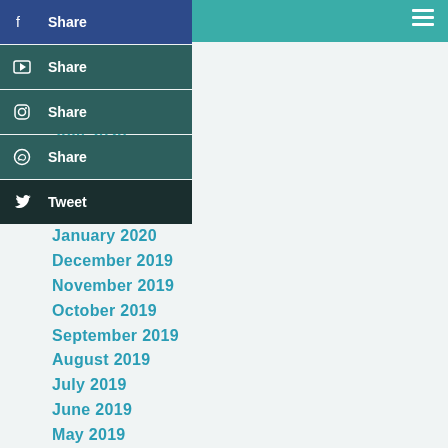November 2020
October 2020
August 2020
July 2020
April 2020
March 2020
February 2020
January 2020
December 2019
November 2019
October 2019
September 2019
August 2019
July 2019
June 2019
May 2019
April 2019
March 2019